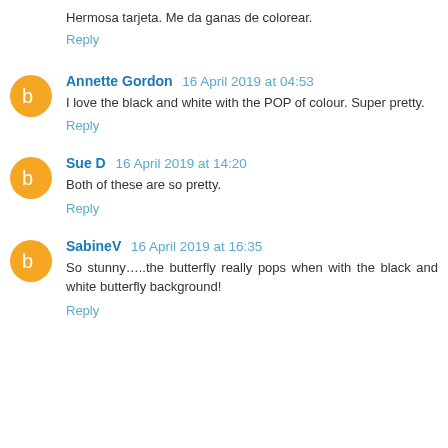Hermosa tarjeta. Me da ganas de colorear.
Reply
Annette Gordon 16 April 2019 at 04:53
I love the black and white with the POP of colour. Super pretty.
Reply
Sue D 16 April 2019 at 14:20
Both of these are so pretty.
Reply
SabineV 16 April 2019 at 16:35
So stunny…..the butterfly really pops when with the black and white butterfly background!
Reply